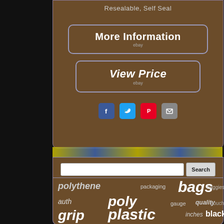Resealable, Self Seal
[Figure (screenshot): More Information button with eBay branding, rounded rectangle border]
[Figure (screenshot): View Price button with eBay branding, rounded rectangle border]
[Figure (infographic): Social sharing icons: Facebook, Twitter, Pinterest, Email]
[Figure (screenshot): Search input box with Search button]
polythene  packaging  bags  baggies  auth  poly  gauge  quality  pouch  grip  plastic  inches  black